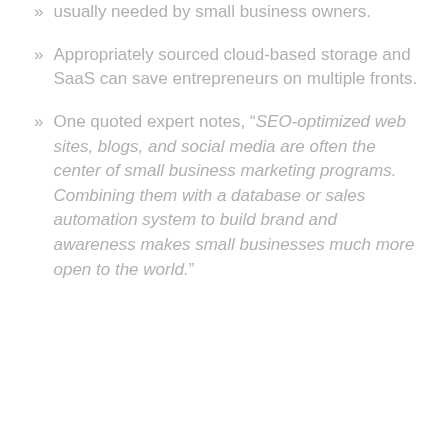usually needed by small business owners.
Appropriately sourced cloud-based storage and SaaS can save entrepreneurs on multiple fronts.
One quoted expert notes, “SEO-optimized web sites, blogs, and social media are often the center of small business marketing programs. Combining them with a database or sales automation system to build brand and awareness makes small businesses much more open to the world.”